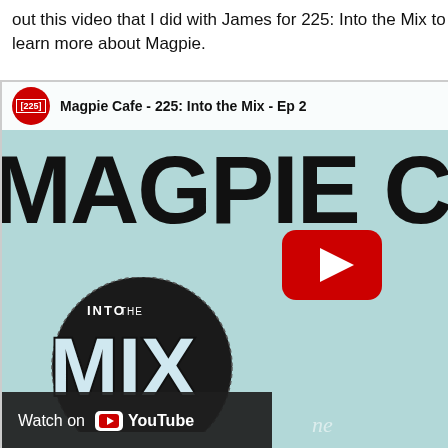out this video that I did with James for 225: Into the Mix to learn more about Magpie.
[Figure (screenshot): YouTube video thumbnail for 'Magpie Cafe - 225: Into the Mix - Ep 2'. Shows a teal/mint background with large bold text 'MAGPIE CA' (cropped), a YouTube play button in the center-right, and an 'INTO THE MIX' logo in the lower left. A 'Watch on YouTube' bar appears at the bottom.]